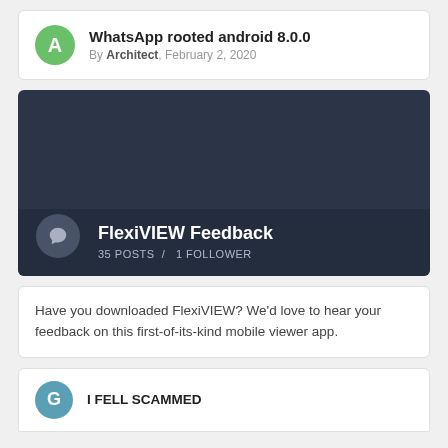WhatsApp rooted android 8.0.0 — By Architect, February 2, 2020
[Figure (infographic): Dark blue-gray banner for FlexiVIEW Feedback forum. Shows forum title 'FlexiVIEW Feedback', '35 POSTS / 1 FOLLOWER', and a chat bubble icon circle on the left.]
Have you downloaded FlexiVIEW? We'd love to hear your feedback on this first-of-its-kind mobile viewer app.
I FELL SCAMMED